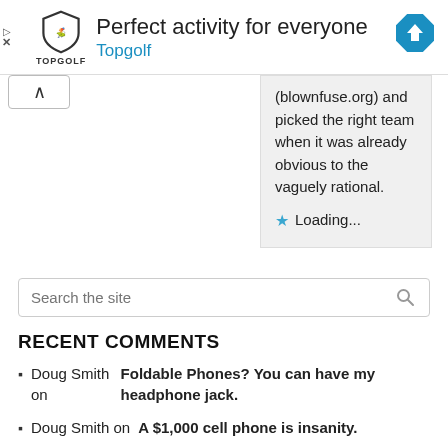[Figure (advertisement): Topgolf advertisement banner with shield logo, text 'Perfect activity for everyone', brand name 'Topgolf' in blue, and a blue navigation/directions diamond icon on the right]
(blownfuse.org) and picked the right team when it was already obvious to the vaguely rational.

★ Loading...
Search the site
RECENT COMMENTS
Doug Smith on Foldable Phones? You can have my headphone jack.
Doug Smith on A $1,000 cell phone is insanity.
Marti M on WINDOWS MOBILE FAILS........AGAIN!